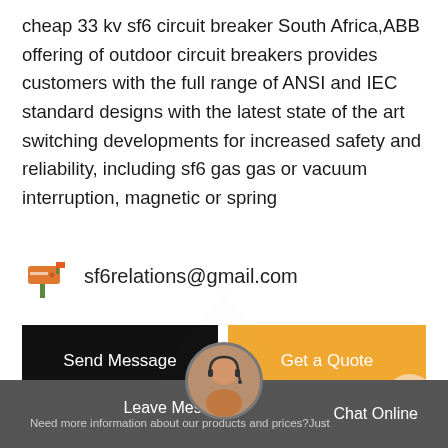cheap 33 kv sf6 circuit breaker South Africa,ABB offering of outdoor circuit breakers provides customers with the full range of ANSI and IEC standard designs with the latest state of the art switching developments for increased safety and reliability, including sf6 gas gas or vacuum interruption, magnetic or spring
sf6relations@gmail.com
Send Message
Get a Quote
Stay Touch With Us
Leave Message | Chat Online | Need more information about our products and prices?Just